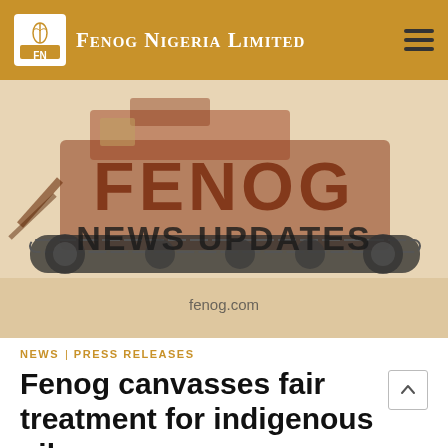Fenog Nigeria Limited
[Figure (illustration): FENOG NEWS UPDATES banner image with industrial machinery/crawler equipment in background, text fenog.com at bottom]
NEWS | PRESS RELEASES
Fenog canvasses fair treatment for indigenous oil